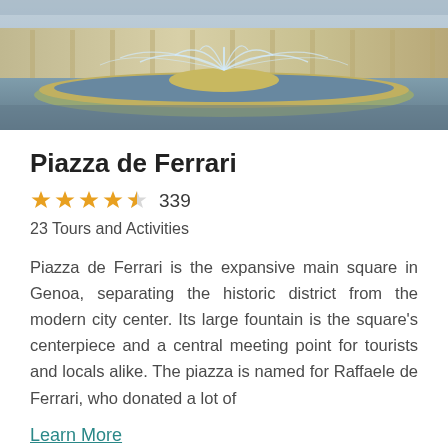[Figure (photo): Aerial/close view of Piazza de Ferrari fountain in Genoa with ornate building facade in background]
Piazza de Ferrari
[Figure (infographic): 4.5 star rating with 339 reviews]
23 Tours and Activities
Piazza de Ferrari is the expansive main square in Genoa, separating the historic district from the modern city center. Its large fountain is the square's centerpiece and a central meeting point for tourists and locals alike. The piazza is named for Raffaele de Ferrari, who donated a lot of
Learn More